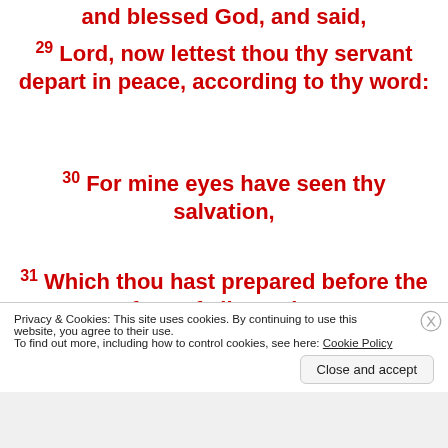and blessed God, and said,
29 Lord, now lettest thou thy servant depart in peace, according to thy word:
30 For mine eyes have seen thy salvation,
31 Which thou hast prepared before the face of all people;
32 A light to lighten the Gentiles, and
Privacy & Cookies: This site uses cookies. By continuing to use this website, you agree to their use. To find out more, including how to control cookies, see here: Cookie Policy
Close and accept